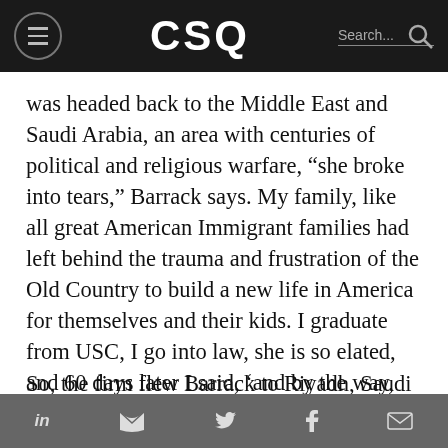CSQ
was headed back to the Middle East and Saudi Arabia, an area with centuries of political and religious warfare, “she broke into tears,” Barrack says. My family, like all great American Immigrant families had left behind the trauma and frustration of the Old Country to build a new life in America for themselves and their kids. I graduate from USC, I go into law, she is so elated, and 60 days later I said, ‘and by the way, I’m going back to our homeland.’”
So, the firm flew Barrack to Riyadh, Saudi Arabia, one of the most primitive distincts
in    f  ✉